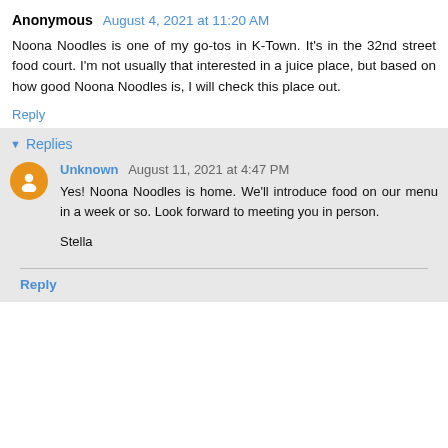Anonymous August 4, 2021 at 11:20 AM
Noona Noodles is one of my go-tos in K-Town. It's in the 32nd street food court. I'm not usually that interested in a juice place, but based on how good Noona Noodles is, I will check this place out.
Reply
Replies
Unknown August 11, 2021 at 4:47 PM
Yes! Noona Noodles is home. We'll introduce food on our menu in a week or so. Look forward to meeting you in person.

Stella
Reply